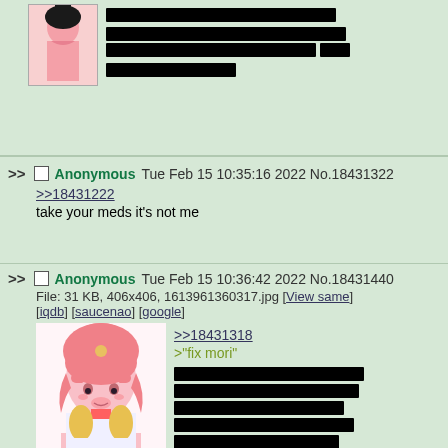[Figure (screenshot): Top partial post with anime thumbnail and redacted text]
>> Anonymous Tue Feb 15 10:35:16 2022 No.18431322
>>18431222
take your meds it's not me
>> Anonymous Tue Feb 15 10:36:42 2022 No.18431440
File: 31 KB, 406x406, 1613961360317.jpg [View same] [iqdb] [saucenao] [google]
>>18431318
>"fix mori"
[Figure (illustration): Anime girl with pink hair]
>> Anonymous Tue Feb 15 10:37:29 2022 No.18431493
File: 184 KB, 500x600, FJkHJ0zUcAAbfyM.jpg [View same]